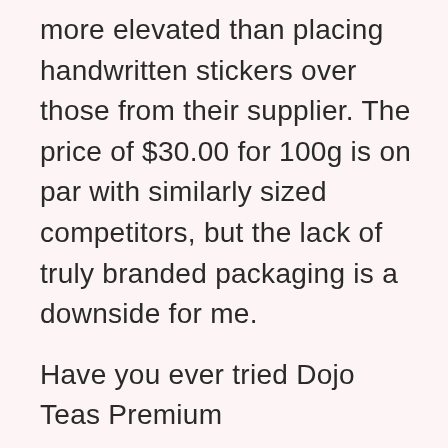more elevated than placing handwritten stickers over those from their supplier. The price of $30.00 for 100g is on par with similarly sized competitors, but the lack of truly branded packaging is a downside for me.
Have you ever tried Dojo Teas Premium